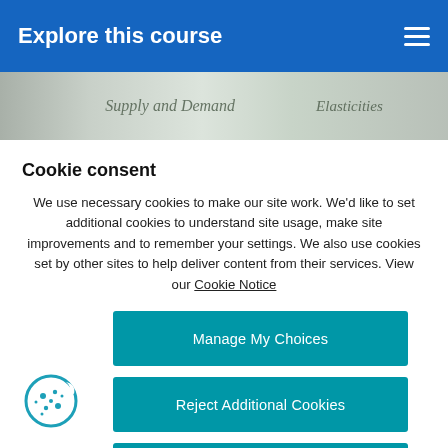Explore this course
[Figure (photo): Partial view of a whiteboard with handwritten text, showing words like 'Supply and Demand' and 'Elasticity']
Cookie consent
We use necessary cookies to make our site work. We'd like to set additional cookies to understand site usage, make site improvements and to remember your settings. We also use cookies set by other sites to help deliver content from their services. View our Cookie Notice
Manage My Choices
Reject Additional Cookies
Accept Additional Cookies